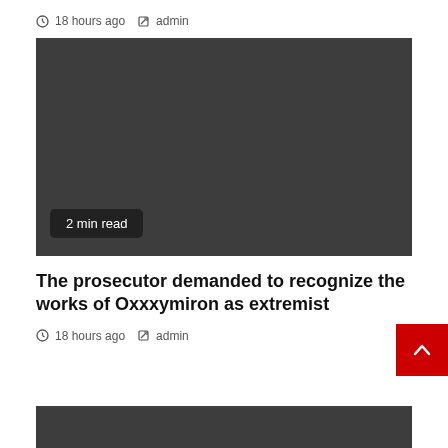18 hours ago  admin
[Figure (photo): Dark gray image placeholder with '2 min read' badge in lower left]
The prosecutor demanded to recognize the works of Oxxxymiron as extremist
18 hours ago  admin